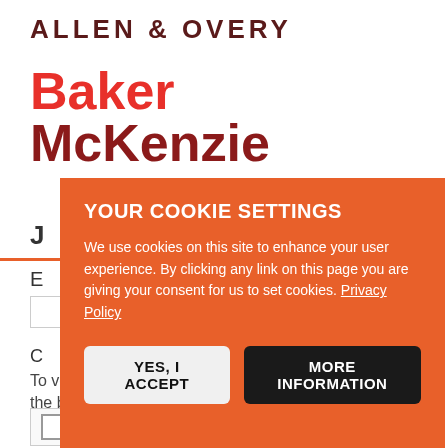[Figure (logo): Allen & Overy law firm logo in dark maroon serif-style uppercase letters]
[Figure (logo): Baker McKenzie law firm logo with Baker in red and McKenzie in dark red, bold sans-serif]
YOUR COOKIE SETTINGS
We use cookies on this site to enhance your user experience. By clicking any link on this page you are giving your consent for us to set cookies. Privacy Policy
YES, I ACCEPT
MORE INFORMATION
To verify your identity, please type what you see in the box above.
I'm not a robot